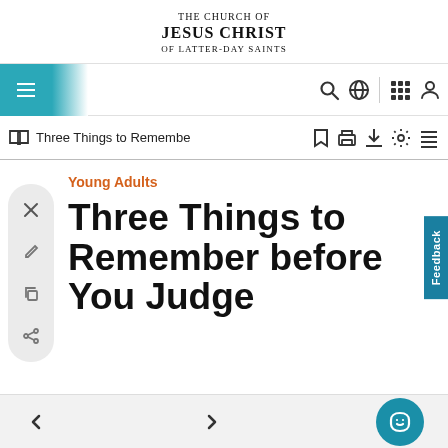THE CHURCH OF JESUS CHRIST OF LATTER-DAY SAINTS
[Figure (screenshot): Website navigation bar with hamburger menu, search, globe, grid, and profile icons]
[Figure (screenshot): Toolbar with book icon, 'Three Things to Remembe' title, bookmark, print, download, settings, and list icons]
Young Adults
Three Things to Remember before You Judge
Navigation back and forward arrows with audio/headphone button